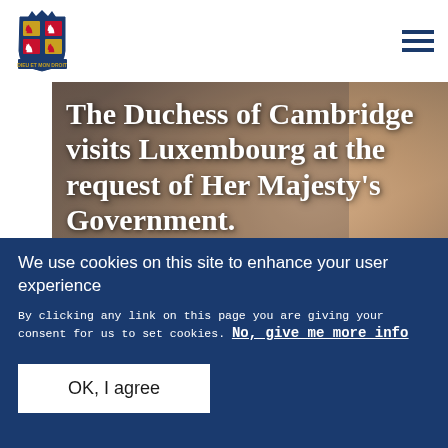[Figure (logo): UK Government Royal coat of arms logo in dark blue]
[Figure (photo): Photo of the Duchess of Cambridge smiling, wearing earrings, with brown hair, blurred background]
The Duchess of Cambridge visits Luxembourg at the request of Her Majesty's Government.
We use cookies on this site to enhance your user experience
By clicking any link on this page you are giving your consent for us to set cookies. No, give me more info
OK, I agree